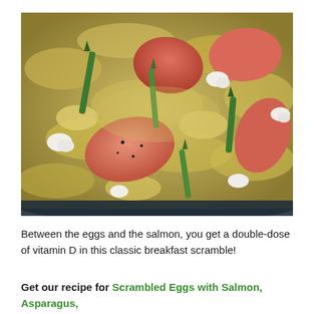[Figure (photo): Close-up photo of a scrambled egg dish with pieces of salmon, asparagus spears, and white goat cheese crumbles in a pan]
Between the eggs and the salmon, you get a double-dose of vitamin D in this classic breakfast scramble!
Get our recipe for Scrambled Eggs with Salmon, Asparagus, and Goat Cheese